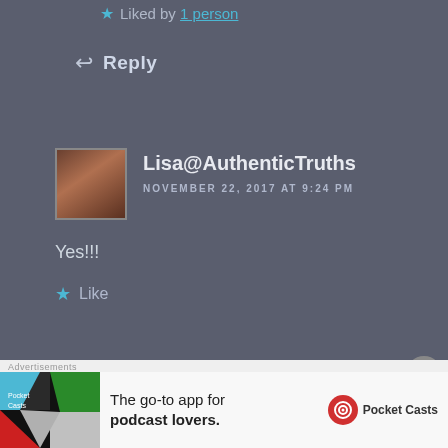★ Liked by 1 person
↩ Reply
Lisa@AuthenticTruths
NOVEMBER 22, 2017 AT 9:24 PM
Yes!!!
★ Like
↩ Reply
debbleputman
Advertisements
The go-to app for podcast lovers. Pocket Casts